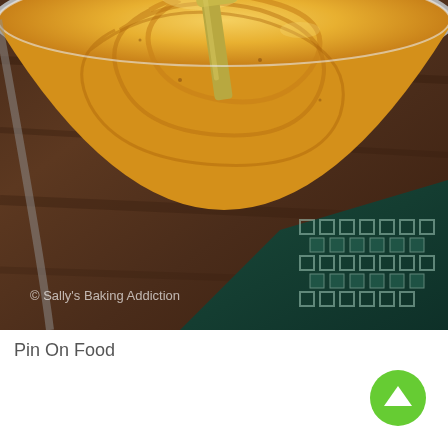[Figure (photo): Overhead close-up photo of a silver mixing bowl containing golden-yellow batter being stirred with a yellow/green spatula, sitting on a dark wood surface with a teal and white checkered cloth napkin. Watermark reads '© Sally's Baking Addiction'.]
Pin On Food